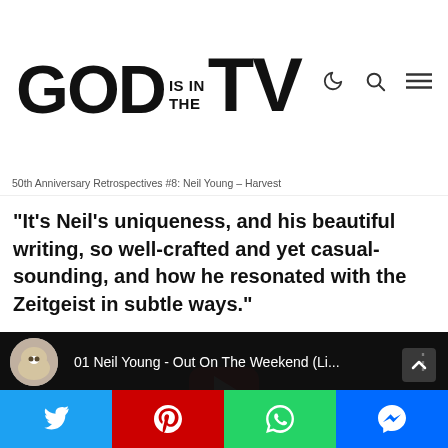GOD IS IN THE TV
50th Anniversary Retrospectives #8: Neil Young – Harvest
“It’s Neil’s uniqueness, and his beautiful writing, so well-crafted and yet casual-sounding, and how he resonated with the Zeitgeist in subtle ways.”
[Figure (screenshot): YouTube video embed showing '01 Neil Young - Out On The Weekend (Li...' with a cat avatar thumbnail and red play button overlay on a dark background of a person at a microphone]
[Figure (other): Social share bar with Twitter (blue), Pinterest (red), WhatsApp (green), and Messenger (blue) buttons]